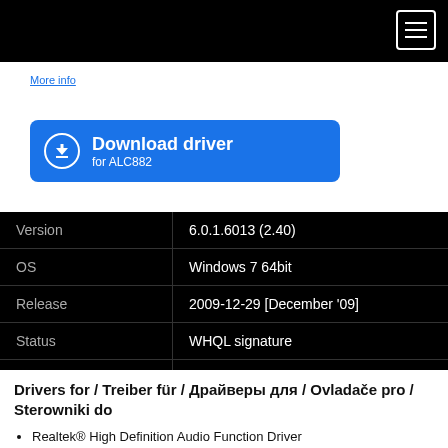More info
[Figure (other): Download driver button for ALC882 — blue rounded rectangle with download icon, bold white text 'Download driver' and subtitle 'for ALC882']
| Version | 6.0.1.6013 (2.40) |
| OS | Windows 7 64bit |
| Release | 2009-12-29 [December '09] |
| Status | WHQL signature |
| File | vista_win7_r240.exe |
| Downloaded | 6930× |
Drivers for / Treiber für / Драйверы для / Ovladače pro / Sterowniki do
Realtek® High Definition Audio Function Driver